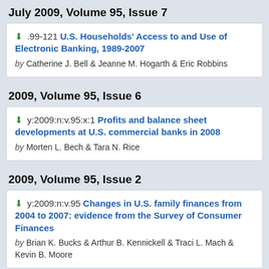July 2009, Volume 95, Issue 7
.99-121 U.S. Households’ Access to and Use of Electronic Banking, 1989-2007 by Catherine J. Bell & Jeanne M. Hogarth & Eric Robbins
2009, Volume 95, Issue 6
y:2009:n:v.95:x:1 Profits and balance sheet developments at U.S. commercial banks in 2008 by Morten L. Bech & Tara N. Rice
2009, Volume 95, Issue 2
y:2009:n:v.95 Changes in U.S. family finances from 2004 to 2007: evidence from the Survey of Consumer Finances by Brian K. Bucks & Arthur B. Kennickell & Traci L. Mach & Kevin B. Moore
2009, Issue Jul